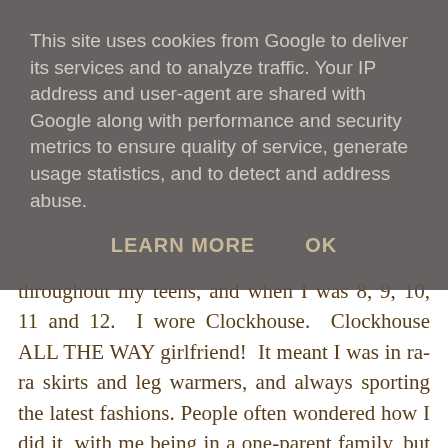This site uses cookies from Google to deliver its services and to analyze traffic. Your IP address and user-agent are shared with Google along with performance and security metrics to ensure quality of service, generate usage statistics, and to detect and address abuse.
LEARN MORE   OK
throughout my teens, and when I was 8, 9, 10, 11 and 12. I wore Clockhouse. Clockhouse ALL THE WAY girlfriend! It meant I was in ra-ra skirts and leg warmers, and always sporting the latest fashions. People often wondered how I did it, with me being in a one-parent family, but (1) I was an only child (2) my Mum was working (she had to when she and my Dad split up) and (3) she got amazing bargains as she worked there!!!! Every week (sometimes every day) she came home with something - be it little or small. They were recruited long before the Shopping City opened and had lots of training prior to the opening. I often got to go behind the scenes as a child and it